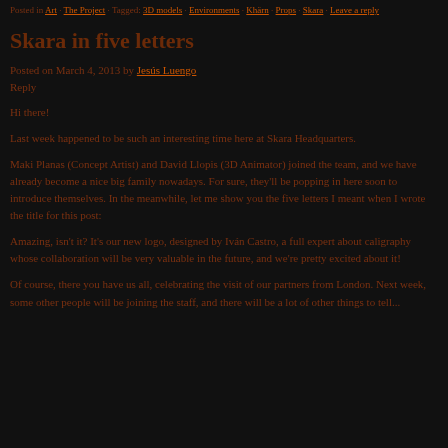Posted in Art · The Project · Tagged: 3D models · Environments · Khärn · Props · Skara · Leave a reply
Skara in five letters
Posted on March 4, 2013 by Jesús Luengo
Reply
Hi there!
Last week happened to be such an interesting time here at Skara Headquarters.
Maki Planas (Concept Artist) and David Llopis (3D Animator) joined the team, and we have already become a nice big family nowadays. For sure, they'll be popping in here soon to introduce themselves. In the meanwhile, let me show you the five letters I meant when I wrote the title for this post:
Amazing, isn't it? It's our new logo, designed by Iván Castro, a full expert about caligraphy whose collaboration will be very valuable in the future, and we're pretty excited about it!
Of course, there you have us all, celebrating the visit of our partners from London. Next week, some other people will be joining the staff, and there will be a lot of other things to tell...